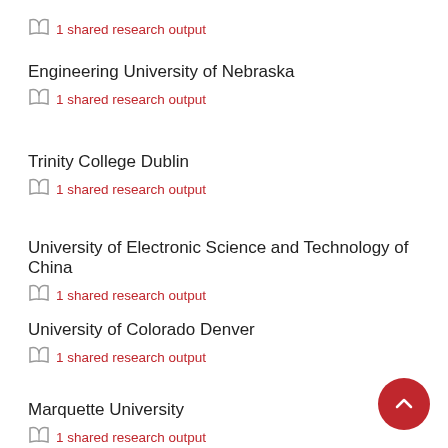1 shared research output
Engineering University of Nebraska
1 shared research output
Trinity College Dublin
1 shared research output
University of Electronic Science and Technology of China
1 shared research output
University of Colorado Denver
1 shared research output
Marquette University
1 shared research output